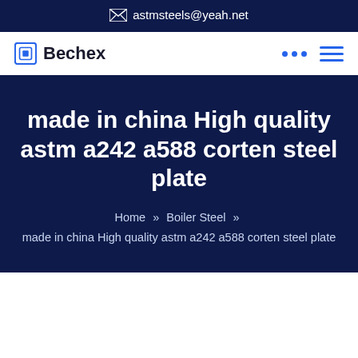astmsteels@yeah.net
[Figure (logo): Bechex logo with square icon and bold text]
made in china High quality astm a242 a588 corten steel plate
Home » Boiler Steel » made in china High quality astm a242 a588 corten steel plate